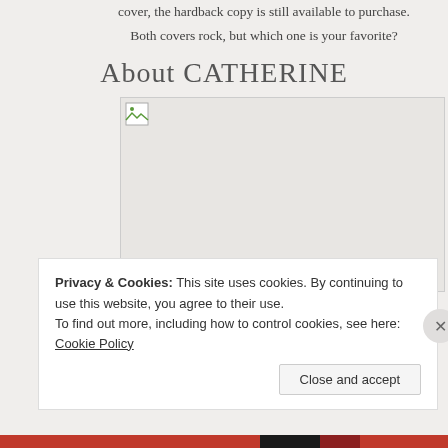cover, the hardback copy is still available to purchase.
Both covers rock, but which one is your favorite?
About CATHERINE
[Figure (photo): Broken image placeholder for a photo related to Catherine]
Privacy & Cookies: This site uses cookies. By continuing to use this website, you agree to their use.
To find out more, including how to control cookies, see here: Cookie Policy
Close and accept